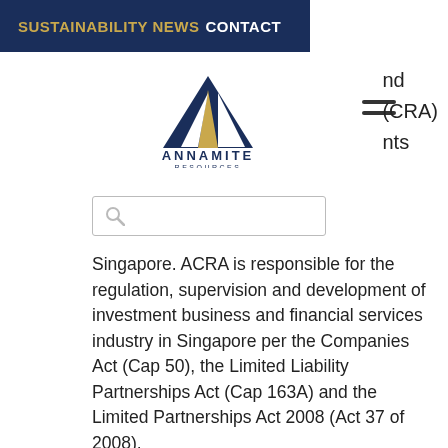SUSTAINABILITY NEWS CONTACT
[Figure (logo): Annamite Resources logo with triangular mountain icon in navy and gold, with text ANNAMITE RESOURCES below]
nd (CRA) nts
Singapore. ACRA is responsible for the regulation, supervision and development of investment business and financial services industry in Singapore per the Companies Act (Cap 50), the Limited Liability Partnerships Act (Cap 163A) and the Limited Partnerships Act 2008 (Act 37 of 2008).
[Figure (photo): Aerial or ground-level photograph of lush green forested hills or mountains with a valley and blue sky]